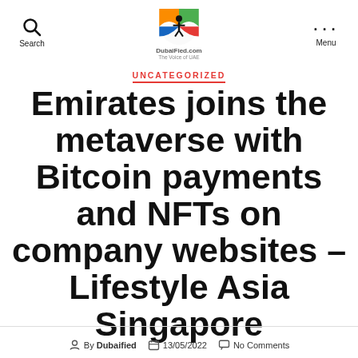Search | DubaiFied.com | Menu
UNCATEGORIZED
Emirates joins the metaverse with Bitcoin payments and NFTs on company websites – Lifestyle Asia Singapore
By Dubaified  13/05/2022  No Comments